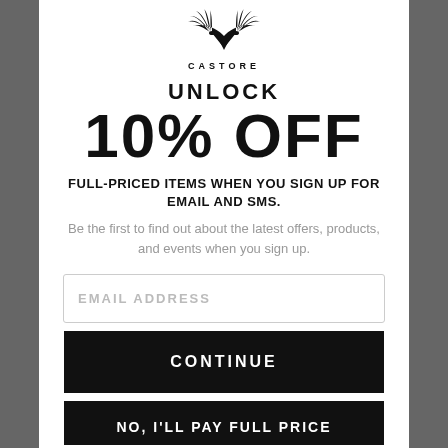[Figure (logo): Castore winged logo with laurel wreath and the word CASTORE below]
UNLOCK
10% OFF
FULL-PRICED ITEMS WHEN YOU SIGN UP FOR EMAIL AND SMS.
Be the first to find out about the latest offers, products, and events when you sign up.
EMAIL ADDRESS
CONTINUE
NO, I'LL PAY FULL PRICE